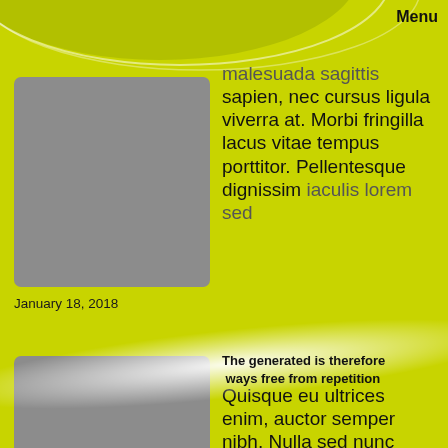Menu
[Figure (photo): Gray placeholder image rectangle for article 1]
malesuada sagittis sapien, nec cursus ligula viverra at. Morbi fringilla lacus vitae tempus porttitor. Pellentesque dignissim iaculis lorem sed
January 18, 2018
[Figure (photo): Gray placeholder image rectangle for article 2]
The generated is therefore ways free from repetition
Quisque eu ultrices enim, auctor semper nibh. Nulla sed nunc ultrices, feugiat dui sed, aliquam libero
January 8, 2018